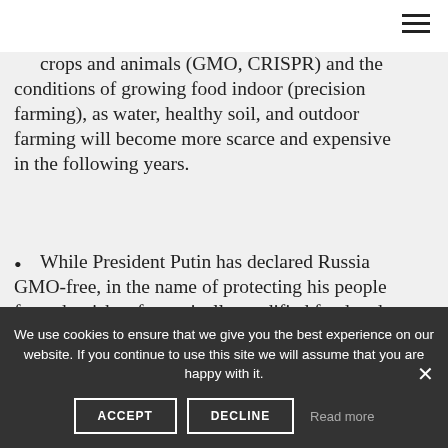crops and animals (GMO, CRISPR) and the conditions of growing food indoor (precision farming), as water, healthy soil, and outdoor farming will become more scarce and expensive in the following years.
While President Putin has declared Russia GMO-free, in the name of protecting his people from the risks of genetically modified food and pharmaceuticals, President Trump is opening doors to controversial geoengineering, despite the fact that we cannot oversee the risks of
We use cookies to ensure that we give you the best experience on our website. If you continue to use this site we will assume that you are happy with it.
ACCEPT  DECLINE  Read more